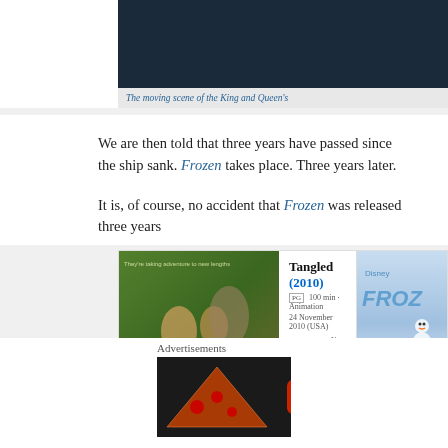[Figure (screenshot): Dark navy blue image at top, partially cropped]
The moving scene of the King and Queen's
We are then told that three years have passed since the ship sank. Frozen takes place. Three years later.
It is, of course, no accident that Frozen was released three years
[Figure (screenshot): Screenshot of IMDb entries for Tangled (2010) and Frozen, showing movie poster, rating 7.9, and movie details]
Advertisements
[Figure (screenshot): Seamless advertisement banner with pizza image, Seamless logo, and ORDER NOW button]